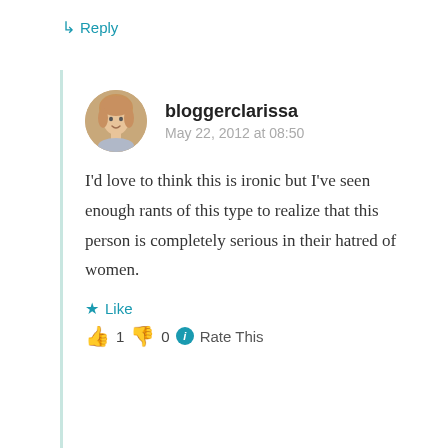↳ Reply
bloggerclarissa
May 22, 2012 at 08:50
I'd love to think this is ironic but I've seen enough rants of this type to realize that this person is completely serious in their hatred of women.
★ Like
👍 1 👎 0 ℹ Rate This